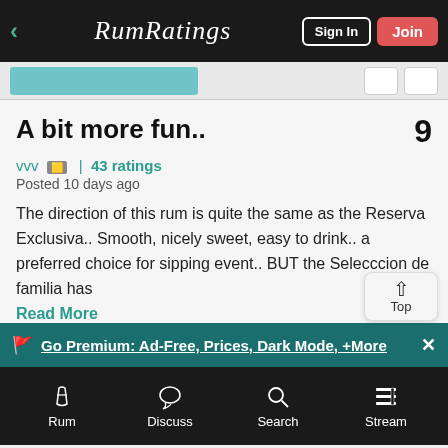RumRatings | Sign In | Join
A bit more fun..
vvv  🟨  |  43 ratings
Posted 10 days ago
The direction of this rum is quite the same as the Reserva Exclusiva.. Smooth, nicely sweet, easy to drink.. a preferred choice for sipping event.. BUT the Selecccion de familia has
Read More
Go Premium: Ad-Free, Prices, Dark Mode, +More
Rum | Discuss | Search | Stream